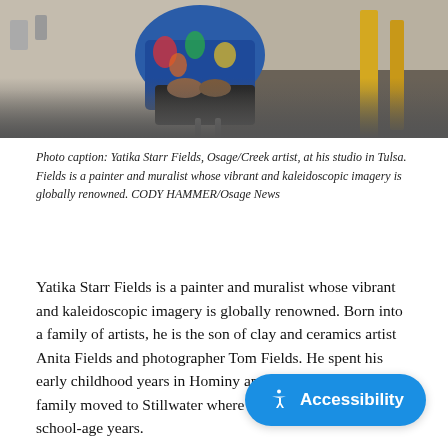[Figure (photo): Yatika Starr Fields, Osage/Creek artist, seated at his studio in Tulsa. He is wearing a colorful floral outfit and seated on a stool with large canvases and studio equipment visible in the background.]
Photo caption: Yatika Starr Fields, Osage/Creek artist, at his studio in Tulsa. Fields is a painter and muralist whose vibrant and kaleidoscopic imagery is globally renowned. CODY HAMMER/Osage News
Yatika Starr Fields is a painter and muralist whose vibrant and kaleidoscopic imagery is globally renowned. Born into a family of artists, he is the son of clay and ceramics artist Anita Fields and photographer Tom Fields. He spent his early childhood years in Hominy and Tahlequah before his family moved to Stillwater where he spent his formative school-age years.
Fields's art and activism has provided…